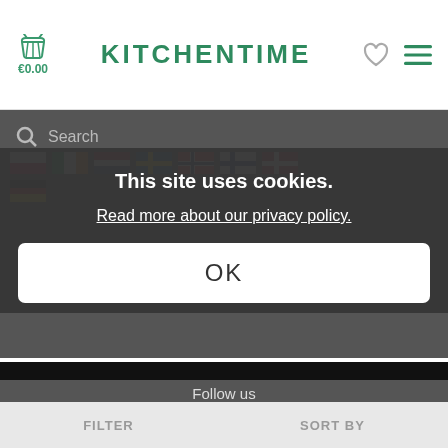[Figure (logo): KitchenTime website header with basket icon, brand name, heart icon, and menu icon]
[Figure (screenshot): Cookie consent overlay on KitchenTime website showing flags, search bar, cookie message, OK button, Follow us section with social icons, and copyright]
This site uses cookies.
Read more about our privacy policy.
OK
Follow us
© 2022 KitchenTime
FILTER
SORT BY